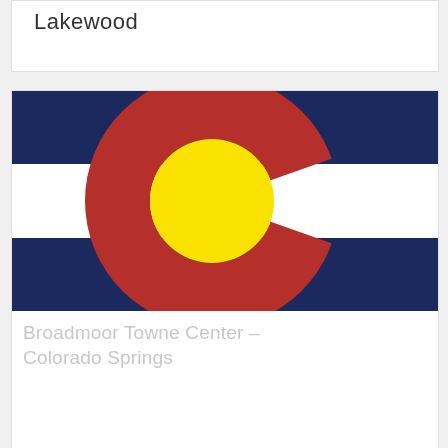Lakewood
[Figure (illustration): Colorado state flag showing two blue horizontal stripes at top and bottom, white stripe in middle, with a large red C symbol and yellow circle in the center-left area.]
Broadmoor Towne Center – Colorado Springs